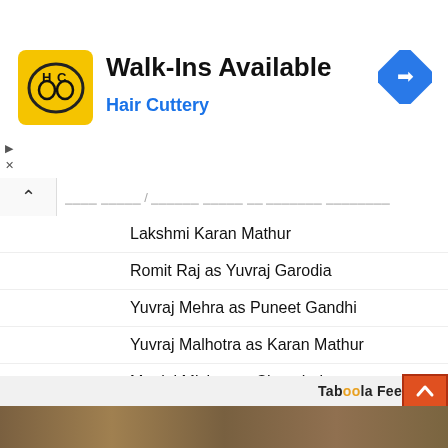[Figure (logo): Hair Cuttery ad banner with HC logo, Walk-Ins Available text, blue navigation icon]
Walk-Ins Available
Hair Cuttery
Lakshmi Karan Mathur
Romit Raj as Yuvraj Garodia
Yuvraj Mehra as Puneet Gandhi
Yuvraj Malhotra as Karan Mathur
Manini Mishra as Chanchal
Kartik Sabharwal as Bhavishya Kapadia / Ranveer Dhawan
Shishir Sharma / Sai Ballal as Nekchand Kapadia
Natasha Rana as Dhara Nekchand Kapadia
Taboola Feed